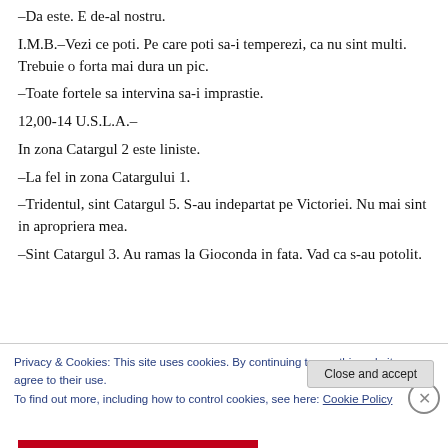–Da este. E de-al nostru.
I.M.B.–Vezi ce poti. Pe care poti sa-i temperezi, ca nu sint multi. Trebuie o forta mai dura un pic.
–Toate fortele sa intervina sa-i imprastie.
12,00-14 U.S.L.A.–
In zona Catargul 2 este liniste.
–La fel in zona Catargului 1.
–Tridentul, sint Catargul 5. S-au indepartat pe Victoriei. Nu mai sint in apropriera mea.
–Sint Catargul 3. Au ramas la Gioconda in fata. Vad ca s-au potolit.
Privacy & Cookies: This site uses cookies. By continuing to use this website, you agree to their use. To find out more, including how to control cookies, see here: Cookie Policy